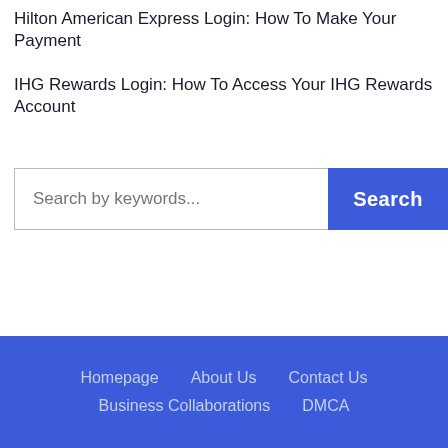Hilton American Express Login: How To Make Your Payment
IHG Rewards Login: How To Access Your IHG Rewards Account
Search by keywords...
Homepage   About Us   Contact Us   Business Collaborations   DMCA